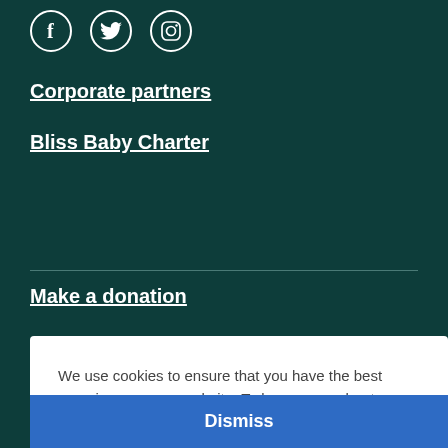[Figure (other): Social media icons: Facebook, Twitter, Instagram as outlined circles]
Corporate partners
Bliss Baby Charter
Make a donation
Bli...
We use cookies to ensure that you have the best experience on our website. To learn more about cookies, view our cookie policy.
Dismiss